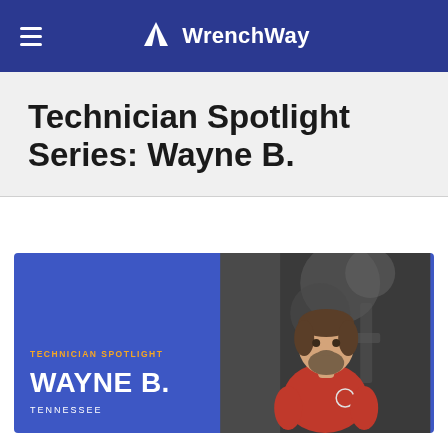WrenchWay
Technician Spotlight Series: Wayne B.
[Figure (photo): Technician Spotlight card with blue background showing Wayne B. from Tennessee, with a photo of a man in a red t-shirt standing in front of engine/mechanical equipment]